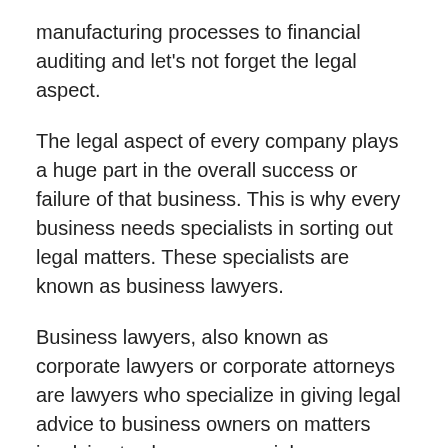manufacturing processes to financial auditing and let's not forget the legal aspect.
The legal aspect of every company plays a huge part in the overall success or failure of that business. This is why every business needs specialists in sorting out legal matters. These specialists are known as business lawyers.
Business lawyers, also known as corporate lawyers or corporate attorneys are lawyers who specialize in giving legal advice to business owners on matters involving tax law, commercial transactions, and intellectual property rights. A corporate lawyer's job is to guarantee that commercial transactions are legitimate, as well as to provide corporations with legal advice on commercial law and corporate law. A business lawyer is also responsible for offering legal advice and providing legal services such as management of business contracts, shareholder